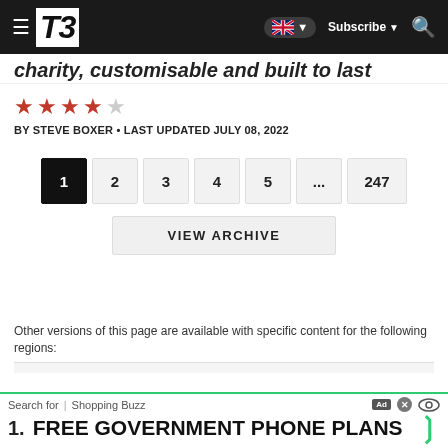T3 — Subscribe | Search
charity, customisable and built to last
★★★★☆
BY STEVE BOXER • LAST UPDATED JULY 08, 2022
Pagination: 1 2 3 4 5 ... 247
VIEW ARCHIVE
Other versions of this page are available with specific content for the following regions:
Search for | Shopping Buzz — Ad — FREE GOVERNMENT PHONE PLANS